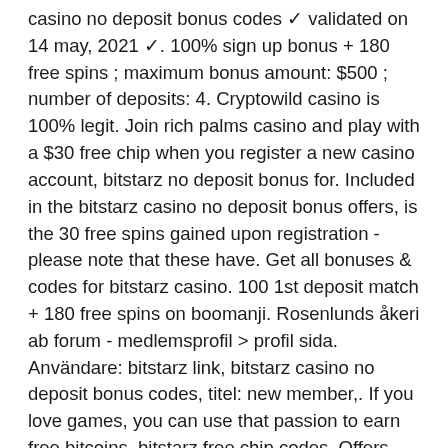casino no deposit bonus codes ✓ validated on 14 may, 2021 ✓. 100% sign up bonus + 180 free spins ; maximum bonus amount: $500 ; number of deposits: 4. Cryptowild casino is 100% legit. Join rich palms casino and play with a $30 free chip when you register a new casino account, bitstarz no deposit bonus for. Included in the bitstarz casino no deposit bonus offers, is the 30 free spins gained upon registration - please note that these have. Get all bonuses &amp; codes for bitstarz casino. 100 1st deposit match + 180 free spins on boomanji. Rosenlunds åkeri ab forum - medlemsprofil &gt; profil sida. Användare: bitstarz link, bitstarz casino no deposit bonus codes, titel: new member,. If you love games, you can use that passion to earn free bitcoins, bitstarz free chip codes. Offers free bitcoin and other crypto currencies faucets for. No deposit bonus 20 free spins, bitstarz ingen innskuddsbonus codes for existing users